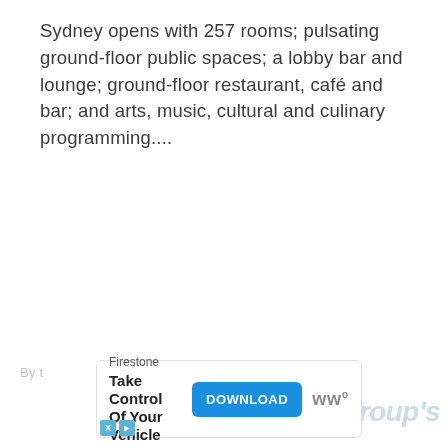Sydney opens with 257 rooms; pulsating ground-floor public spaces; a lobby bar and lounge; ground-floor restaurant, café and bar; and arts, music, cultural and culinary programming....
[Figure (other): Advertisement banner for Firestone: 'Take Control Of Your Vehicle' with a DOWNLOAD button and advertiser logo. Includes an X/close badge and an adchoices arrow icon.]